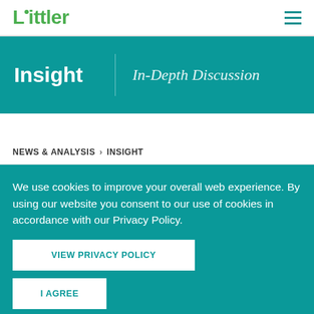Littler
Insight  In-Depth Discussion
NEWS & ANALYSIS > INSIGHT
We use cookies to improve your overall web experience. By using our website you consent to our use of cookies in accordance with our Privacy Policy.
VIEW PRIVACY POLICY
I AGREE